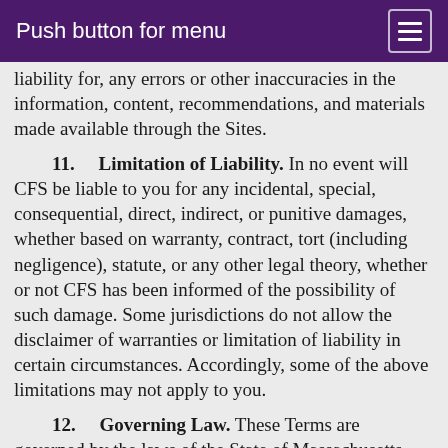Push button for menu
liability for, any errors or other inaccuracies in the information, content, recommendations, and materials made available through the Sites.
11. Limitation of Liability. In no event will CFS be liable to you for any incidental, special, consequential, direct, indirect, or punitive damages, whether based on warranty, contract, tort (including negligence), statute, or any other legal theory, whether or not CFS has been informed of the possibility of such damage. Some jurisdictions do not allow the disclaimer of warranties or limitation of liability in certain circumstances. Accordingly, some of the above limitations may not apply to you.
12. Governing Law. These Terms are governed by the laws of the State of Massachusetts,